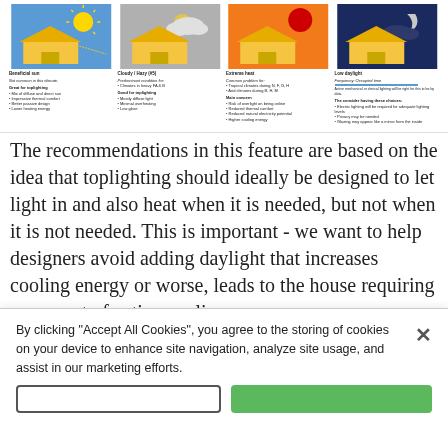[Figure (infographic): Four illustrated panels showing climate/lighting conditions for toplighting: Beneficial sun, Cloudy/Hazy (#5), Extreme heat, Low daylight. Each panel has a colored background with house illustration and text describing conditions and recommendations.]
The recommendations in this feature are based on the idea that toplighting should ideally be designed to let light in and also heat when it is needed, but not when it is not needed. This is important - we want to help designers avoid adding daylight that increases cooling energy or worse, leads to the house requiring some sort of active cooling.
For this feature, for each climate, time to...
By clicking “Accept All Cookies”, you agree to the storing of cookies on your device to enhance site navigation, analyze site usage, and assist in our marketing efforts.